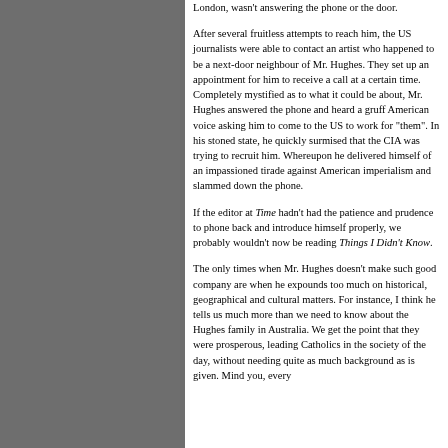London, wasn't answering the phone or the door.
After several fruitless attempts to reach him, the US journalists were able to contact an artist who happened to be a next-door neighbour of Mr. Hughes. They set up an appointment for him to receive a call at a certain time. Completely mystified as to what it could be about, Mr. Hughes answered the phone and heard a gruff American voice asking him to come to the US to work for "them". In his stoned state, he quickly surmised that the CIA was trying to recruit him. Whereupon he delivered himself of an impassioned tirade against American imperialism and slammed down the phone.
If the editor at Time hadn't had the patience and prudence to phone back and introduce himself properly, we probably wouldn't now be reading Things I Didn't Know.
The only times when Mr. Hughes doesn't make such good company are when he expounds too much on historical, geographical and cultural matters. For instance, I think he tells us much more than we need to know about the Hughes family in Australia. We get the point that they were prosperous, leading Catholics in the society of the day, without needing quite as much background as is given. Mind you, every